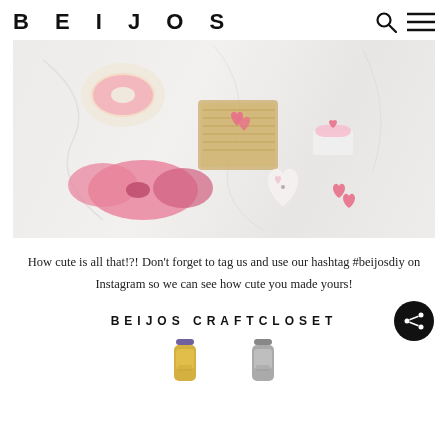BEIJOS
[Figure (photo): Overhead/flat-lay photo of Valentine's Day treats and gifts on a white marble surface: pink-iced donuts, small cupcakes with pink hearts, heart-shaped cookies, pink fabric bow, and decorative straw packaging with small heart candies.]
How cute is all that!?! Don't forget to tag us and use our hashtag #beijosdiy on Instagram so we can see how cute you made yours!
BEIJOS CRAFTCLOSET
[Figure (photo): Partial view of two product bottles at the bottom of the page — one gold/yellow bottle and one gray/silver bottle.]